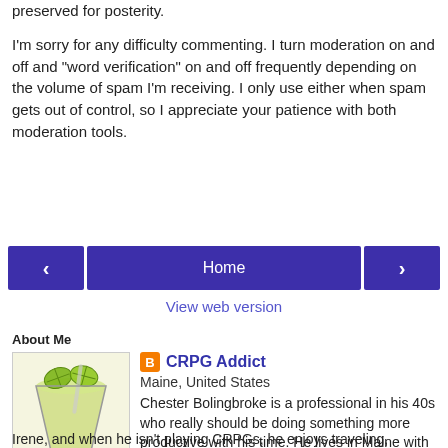preserved for posterity.
I'm sorry for any difficulty commenting. I turn moderation on and off and "word verification" on and off frequently depending on the volume of spam I'm receiving. I only use either when spam gets out of control, so I appreciate your patience with both moderation tools.
[Figure (screenshot): Navigation buttons: left arrow, Home, right arrow]
View web version
About Me
[Figure (photo): Photo of a cocktail glass with ice and lime garnish]
CRPG Addict
Maine, United States
Chester Bolingbroke is a professional in his 40s who really should be doing something more productive with his time. He lives in Maine with his patient wife, Irene, and when he isn't playing CRPGs, he enjoys traveling, crossword puzzles, and jazz.